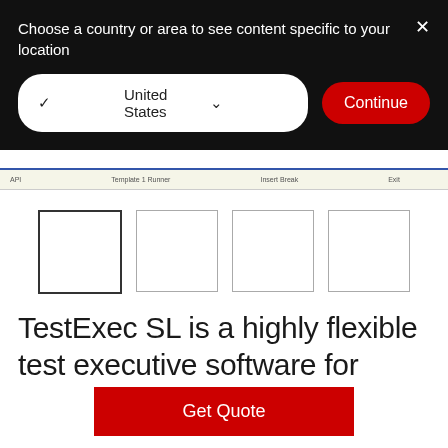Choose a country or area to see content specific to your location
[Figure (screenshot): Country selector dropdown showing 'United States' with checkmark and chevron, and a red 'Continue' button]
[Figure (screenshot): Narrow toolbar strip from a software application interface]
[Figure (screenshot): Four thumbnail image placeholders in a row, the first one outlined more boldly]
TestExec SL is a highly flexible test executive software for electronics manufacturing functional test applications in multiple industries
Get Quote